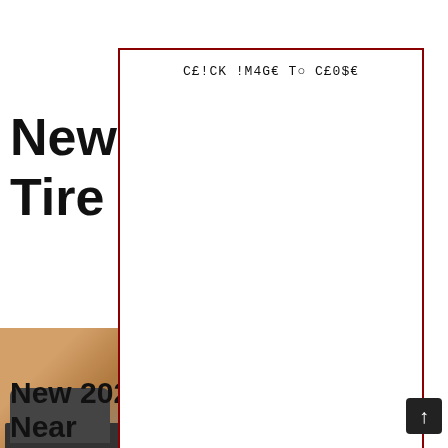New 2021 Volkswagen Atlas [tire size related title], Tire...
[Figure (photo): Volkswagen Atlas SUV vehicle photo, partially obscured by modal overlay]
Volkswagen... size, and fr... nd 2021 mum-d... son produc... of your main V... -ular that is... cular ty
[Figure (screenshot): Modal dialog overlay with dark red border and monospace text reading 'CE!CK !M4GE To CE0$E' at the top, white background body]
New 2021 Volkswagen Atlas Near